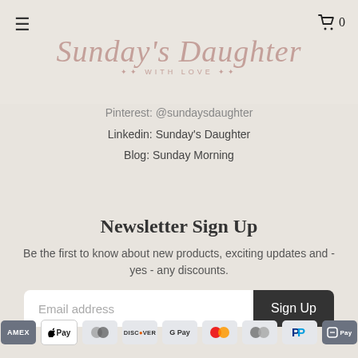[Figure (logo): Sunday's Daughter with love script logo in rose/mauve color]
Pinterest: @sundaysdaughter
Linkedin: Sunday's Daughter
Blog: Sunday Morning
Newsletter Sign Up
Be the first to know about new products, exciting updates and - yes - any discounts.
Email address | Sign Up
[Figure (other): Payment method icons: Amex, Apple Pay, Diners, Discover, Google Pay, Mastercard, Mastercard (gray), PayPal, Shop Pay]